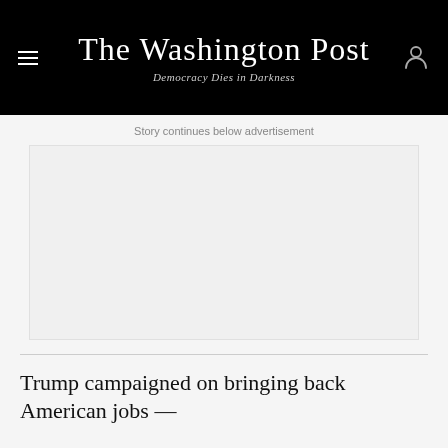The Washington Post
Democracy Dies in Darkness
Story continues below advertisement
[Figure (other): Advertisement placeholder block, light gray background]
Trump campaigned on bringing back American jobs —